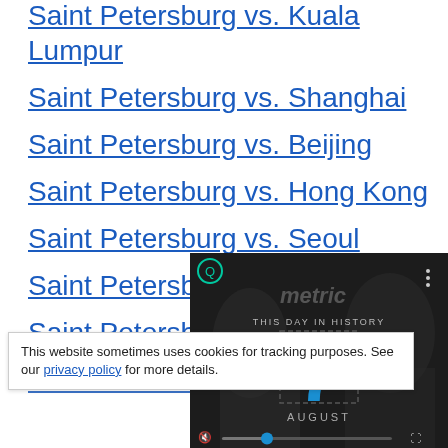Saint Petersburg vs. Kuala Lumpur
Saint Petersburg vs. Shanghai
Saint Petersburg vs. Beijing
Saint Petersburg vs. Hong Kong
Saint Petersburg vs. Seoul
Saint Petersburg vs. Tokyo
Saint Petersburg vs. Singapore
Saint Petersburg vs. [partially visible]
This website sometimes uses cookies for tracking purposes. See our privacy policy for more details.
[Figure (screenshot): A video player overlay showing 'This Day in History' with a large blue number 7 and 'AUGUST' text, with video controls at the bottom.]